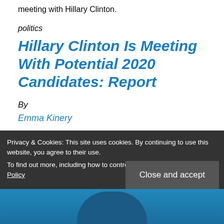meeting with Hillary Clinton.
politics
Hillary Clinton Is Meeting With Potential 2020 Candidates: Report
By
Emma Kinery
January 4, 2019, 11:21 AM EST Updated on January 4, 2019, 11:40 AM EST
Privacy & Cookies: This site uses cookies. By continuing to use this website, you agree to their use. To find out more, including how to control cookies, see here: Cookie Policy
[Figure (photo): Partial photo of a person, possibly Hillary Clinton, visible at bottom of page]